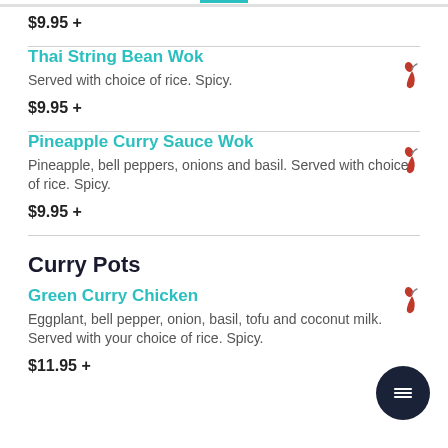$9.95 +
Thai String Bean Wok
Served with choice of rice. Spicy.
$9.95 +
Pineapple Curry Sauce Wok
Pineapple, bell peppers, onions and basil. Served with choice of rice. Spicy.
$9.95 +
Curry Pots
Green Curry Chicken
Eggplant, bell pepper, onion, basil, tofu and coconut milk. Served with your choice of rice. Spicy.
$11.95 +